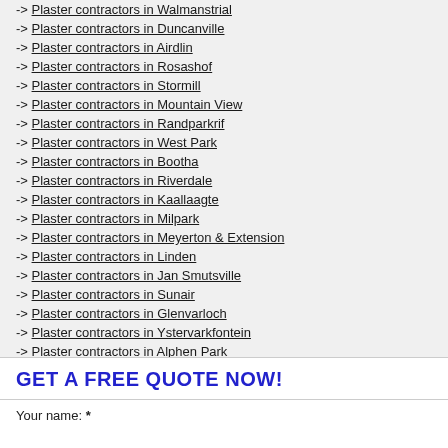-> Plaster contractors in Walmanstrial
-> Plaster contractors in Duncanville
-> Plaster contractors in Airdlin
-> Plaster contractors in Rosashof
-> Plaster contractors in Stormill
-> Plaster contractors in Mountain View
-> Plaster contractors in Randparkrif
-> Plaster contractors in West Park
-> Plaster contractors in Bootha
-> Plaster contractors in Riverdale
-> Plaster contractors in Kaallaagte
-> Plaster contractors in Milpark
-> Plaster contractors in Meyerton & Extension
-> Plaster contractors in Linden
-> Plaster contractors in Jan Smutsville
-> Plaster contractors in Sunair
-> Plaster contractors in Glenvarloch
-> Plaster contractors in Ystervarkfontein
-> Plaster contractors in Alphen Park
GET A FREE QUOTE NOW!
Your name: *